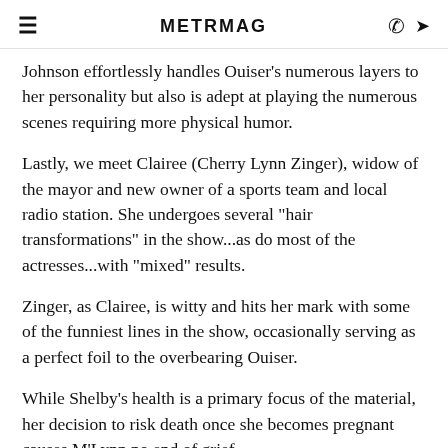METRMAG
Johnson effortlessly handles Ouiser's numerous layers to her personality but also is adept at playing the numerous scenes requiring more physical humor.
Lastly, we meet Clairee (Cherry Lynn Zinger), widow of the mayor and new owner of a sports team and local radio station. She undergoes several "hair transformations" in the show...as do most of the actresses...with "mixed" results.
Zinger, as Clairee, is witty and hits her mark with some of the funniest lines in the show, occasionally serving as a perfect foil to the overbearing Ouiser.
While Shelby's health is a primary focus of the material, her decision to risk death once she becomes pregnant causes M'Lynn no end of grief.
There are numerous sub-plots in "Magnolias", many involving the men in the lives of these women – and many